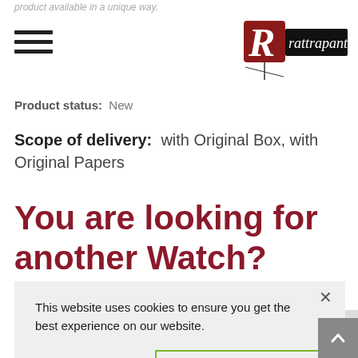product available in a unique way.
[Figure (logo): Rattrapante logo with stylized R and handwritten text]
Product status:  New
Scope of delivery:  with Original Box, with Original Papers
You are looking for another Watch?
This website uses cookies to ensure you get the best experience on our website.
Decline  Accept